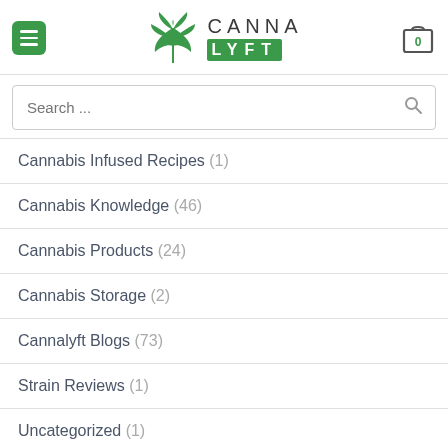[Figure (logo): CannaLyft logo with green leaf icon and CANNA LYFT text]
Search ...
Cannabis Infused Recipes (1)
Cannabis Knowledge (46)
Cannabis Products (24)
Cannabis Storage (2)
Cannalyft Blogs (73)
Strain Reviews (1)
Uncategorized (1)